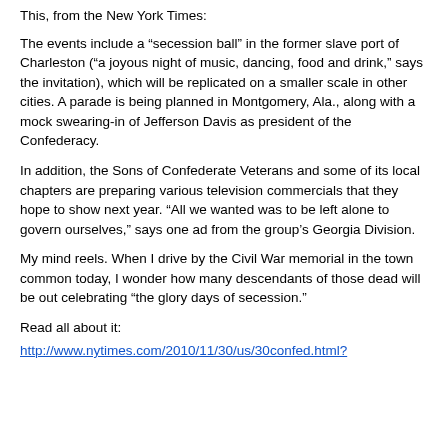This, from the New York Times:
The events include a “secession ball” in the former slave port of Charleston (“a joyous night of music, dancing, food and drink,” says the invitation), which will be replicated on a smaller scale in other cities. A parade is being planned in Montgomery, Ala., along with a mock swearing-in of Jefferson Davis as president of the Confederacy.
In addition, the Sons of Confederate Veterans and some of its local chapters are preparing various television commercials that they hope to show next year. “All we wanted was to be left alone to govern ourselves,” says one ad from the group’s Georgia Division.
My mind reels. When I drive by the Civil War memorial in the town common today, I wonder how many descendants of those dead will be out celebrating “the glory days of secession.”
Read all about it:
http://www.nytimes.com/2010/11/30/us/30confed.html?